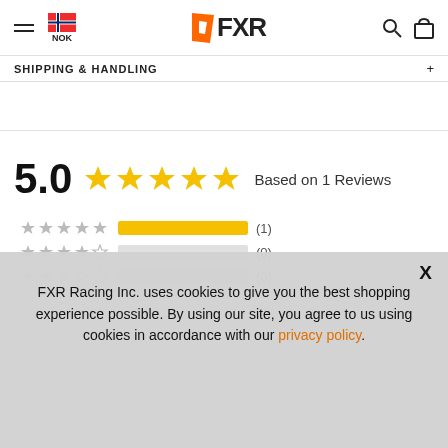NOK | FXR
SHIPPING & HANDLING
5.0  ★★★★★  Based on 1 Reviews
[Figure (bar-chart): Rating breakdown]
FXR Racing Inc. uses cookies to give you the best shopping experience possible. By using our site, you agree to us using cookies in accordance with our privacy policy.